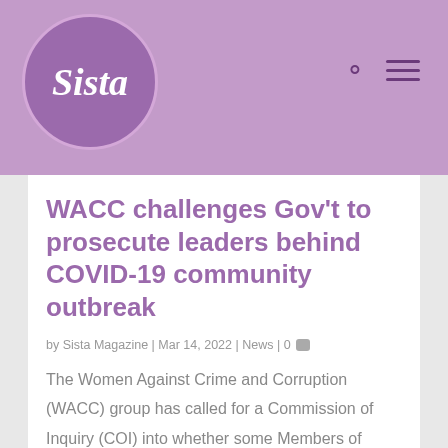[Figure (logo): Sista Magazine logo — circular purple badge with cursive white 'Sista' text on a purple/lavender header bar background]
Sista Magazine header with logo and navigation icons (search, hamburger menu)
WACC challenges Gov't to prosecute leaders behind COVID-19 community outbreak
by Sista Magazine | Mar 14, 2022 | News | 0
The Women Against Crime and Corruption (WACC) group has called for a Commission of Inquiry (COI) into whether some Members of Parliament are responsible for the current COVID-19 community transmission and the lockdown. The...
READ MORE